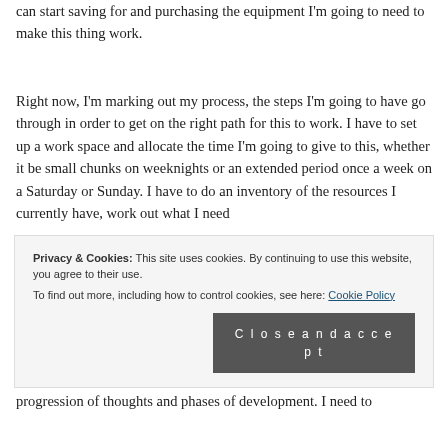can start saving for and purchasing the equipment I'm going to need to make this thing work.
Right now, I'm marking out my process, the steps I'm going to have go through in order to get on the right path for this to work. I have to set up a work space and allocate the time I'm going to give to this, whether it be small chunks on weeknights or an extended period once a week on a Saturday or Sunday. I have to do an inventory of the resources I currently have, work out what I need
Privacy & Cookies: This site uses cookies. By continuing to use this website, you agree to their use.
To find out more, including how to control cookies, see here: Cookie Policy
Close and accept
progression of thoughts and phases of development. I need to